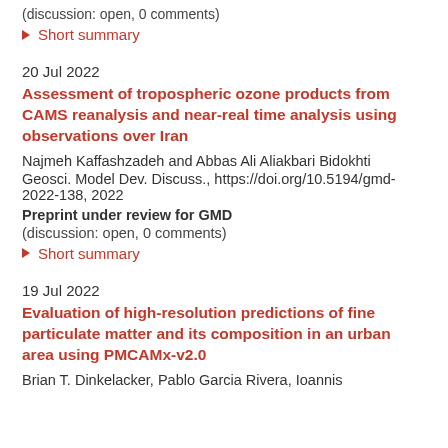(discussion: open, 0 comments)
▶ Short summary
20 Jul 2022
Assessment of tropospheric ozone products from CAMS reanalysis and near-real time analysis using observations over Iran
Najmeh Kaffashzadeh and Abbas Ali Aliakbari Bidokhti
Geosci. Model Dev. Discuss., https://doi.org/10.5194/gmd-2022-138, 2022
Preprint under review for GMD
(discussion: open, 0 comments)
▶ Short summary
19 Jul 2022
Evaluation of high-resolution predictions of fine particulate matter and its composition in an urban area using PMCAMx-v2.0
Brian T. Dinkelacker, Pablo Garcia Rivera, Ioannis